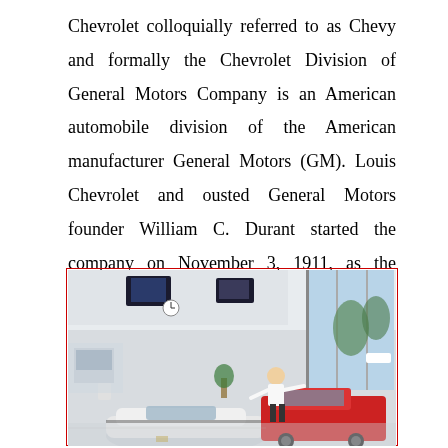Chevrolet colloquially referred to as Chevy and formally the Chevrolet Division of General Motors Company is an American automobile division of the American manufacturer General Motors (GM). Louis Chevrolet and ousted General Motors founder William C. Durant started the company on November 3, 1911, as the Chevrolet Motor Car Company.
[Figure (photo): Interior of a Chevrolet car dealership showroom showing cars on the floor including a white sports car and a red truck, with a salesperson in a white shirt gesturing, large windows in the background letting in natural light, and TV screens mounted on the ceiling.]